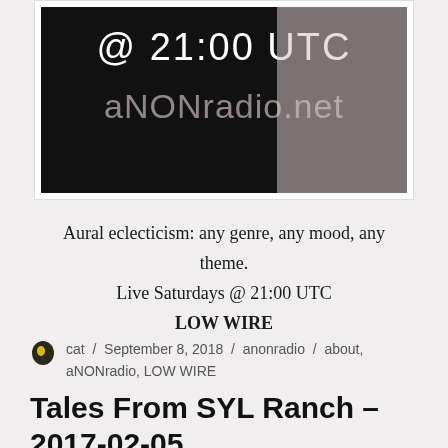[Figure (photo): Dark background promotional image showing '@21:00 UTC aNONradio.net' text in white and light pink/grey colors]
Aural eclecticism: any genre, any mood, any theme.
Live Saturdays @ 21:00 UTC
LOW WIRE
cat / September 8, 2018 / anonradio / about, aNONradio, LOW WIRE
Tales From SYL Ranch – 2017-02-05